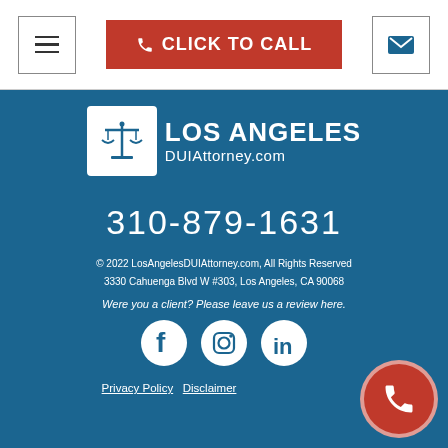[Figure (screenshot): Website header with hamburger menu, red CLICK TO CALL button, and email icon]
[Figure (logo): Los Angeles DUIAttorney.com logo with scales of justice icon]
310-879-1631
© 2022 LosAngelesDUIAttorney.com, All Rights Reserved
3330 Cahuenga Blvd W #303, Los Angeles, CA 90068
Were you a client? Please leave us a review here.
[Figure (infographic): Social media icons: Facebook, Instagram, LinkedIn]
Privacy Policy   Disclaimer
[Figure (infographic): Red circular phone FAB button in bottom right corner]